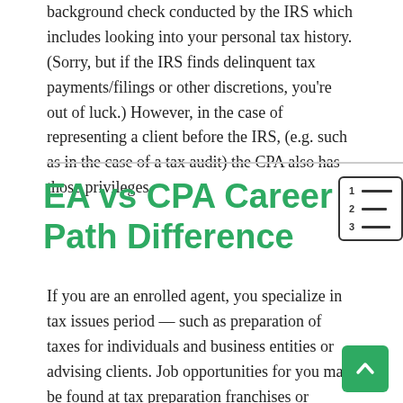background check conducted by the IRS which includes looking into your personal tax history. (Sorry, but if the IRS finds delinquent tax payments/filings or other discretions, you're out of luck.) However, in the case of representing a client before the IRS, (e.g. such as in the case of a tax audit) the CPA also has those privileges.
EA vs CPA Career Path Difference
If you are an enrolled agent, you specialize in tax issues period — such as preparation of taxes for individuals and business entities or advising clients. Job opportunities for you may be found at tax preparation franchises or working for a CPA. A CPA's careers choices are much greater and you could work for the